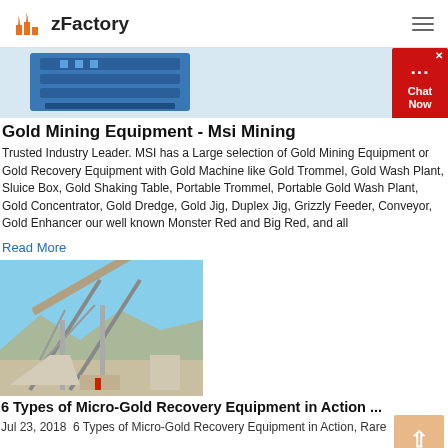zFactory
[Figure (photo): Blue industrial mining equipment, partially visible at top of page]
Gold Mining Equipment - Msi Mining
Trusted Industry Leader. MSI has a Large selection of Gold Mining Equipment or Gold Recovery Equipment with Gold Machine like Gold Trommel, Gold Wash Plant, Sluice Box, Gold Shaking Table, Portable Trommel, Portable Gold Wash Plant, Gold Concentrator, Gold Dredge, Gold Jig, Duplex Jig, Grizzly Feeder, Conveyor, Gold Enhancer our well known Monster Red and Big Red, and all
Read More
[Figure (photo): Industrial conveyor and crushing equipment at a mine site with blue sky background]
6 Types of Micro-Gold Recovery Equipment in Action ...
Jul 23, 2018  6 Types of Micro-Gold Recovery Equipment in Action, Rare